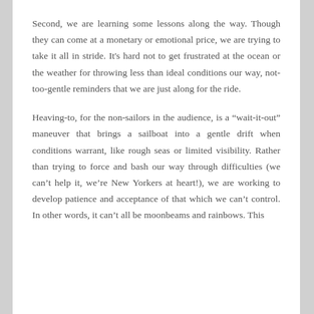Second, we are learning some lessons along the way. Though they can come at a monetary or emotional price, we are trying to take it all in stride. It's hard not to get frustrated at the ocean or the weather for throwing less than ideal conditions our way, not-too-gentle reminders that we are just along for the ride.
Heaving-to, for the non-sailors in the audience, is a “wait-it-out” maneuver that brings a sailboat into a gentle drift when conditions warrant, like rough seas or limited visibility. Rather than trying to force and bash our way through difficulties (we can’t help it, we’re New Yorkers at heart!), we are working to develop patience and acceptance of that which we can’t control. In other words, it can’t all be moonbeams and rainbows. This